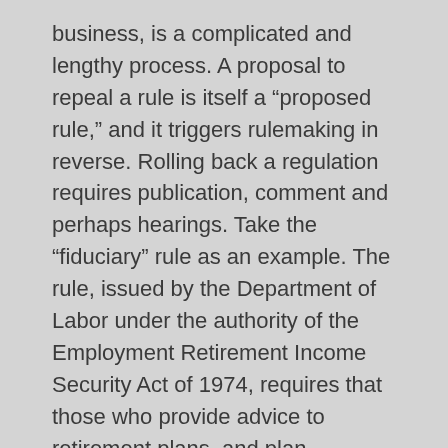business, is a complicated and lengthy process. A proposal to repeal a rule is itself a “proposed rule,” and it triggers rulemaking in reverse. Rolling back a regulation requires publication, comment and perhaps hearings. Take the “fiduciary” rule as an example. The rule, issued by the Department of Labor under the authority of the Employment Retirement Income Security Act of 1974, requires that those who provide advice to retirement plans, and plan participants and beneficiaries act in the best interests of clients and provide up front disclosure of fees, and bars conflicts of interest. A similar, more broadly applicable, proposal is before the SEC. The rule would virtually preclude brokers and others from